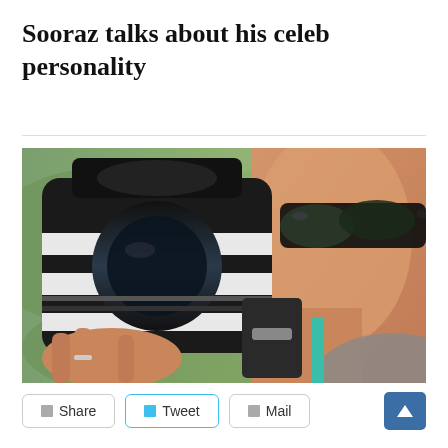Sooraz talks about his celeb personality
[Figure (photo): Close-up photo of a person wearing dark sunglasses holding a large black and white telephoto camera lens up to their face, with green landscape in background.]
Share  Tweet  Mail